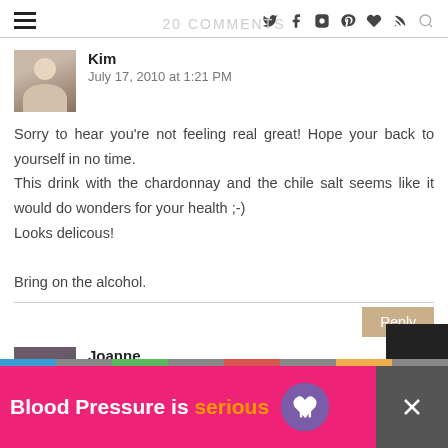20 COMMENTS
Kim
July 17, 2010 at 1:21 PM
Sorry to hear you're not feeling real great! Hope your back to yourself in no time.
This drink with the chardonnay and the chile salt seems like it would do wonders for your health ;-)
Looks delicous!

Bring on the alcohol.
Joanne
[Figure (infographic): Blood Pressure is serious advertisement banner with heart icon]